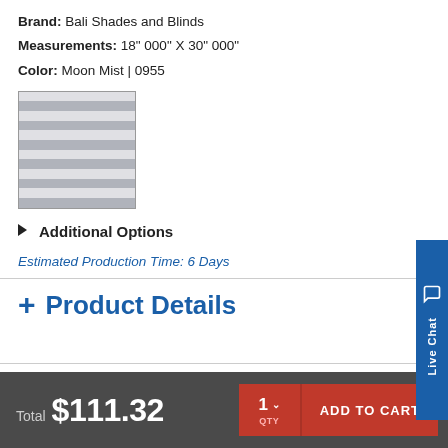Brand: Bali Shades and Blinds
Measurements: 18" 000" X 30" 000"
Color: Moon Mist | 0955
[Figure (photo): Swatch image showing alternating grey and white horizontal stripes representing the Moon Mist blind color]
▶ Additional Options
Estimated Production Time: 6 Days
+ Product Details
Total $111.32
1 QTY  ADD TO CART